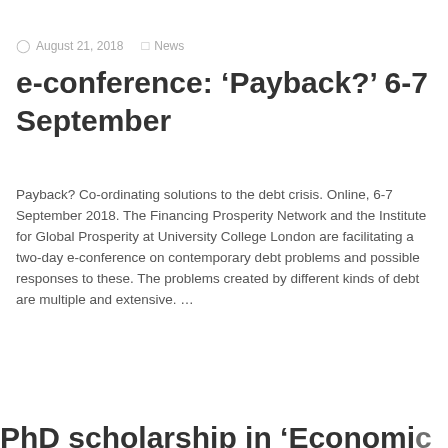August 21, 2018  News
e-conference: ‘Payback?’ 6-7 September
Payback? Co-ordinating solutions to the debt crisis. Online, 6-7 September 2018. The Financing Prosperity Network and the Institute for Global Prosperity at University College London are facilitating a two-day e-conference on contemporary debt problems and possible responses to these. The problems created by different kinds of debt are multiple and extensive. …
Read more ›
PhD scholarship in ‘Economic…